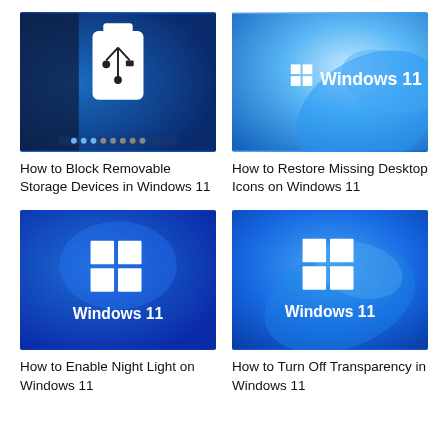[Figure (screenshot): USB drive icon on dark blue background representing Windows desktop]
How to Block Removable Storage Devices in Windows 11
[Figure (screenshot): Windows 11 logo with light blue swirl background]
How to Restore Missing Desktop Icons on Windows 11
[Figure (screenshot): Windows 11 logo on dark blue radial background]
How to Enable Night Light on Windows 11
[Figure (screenshot): Windows 11 logo on bright blue background with swirl]
How to Turn Off Transparency in Windows 11